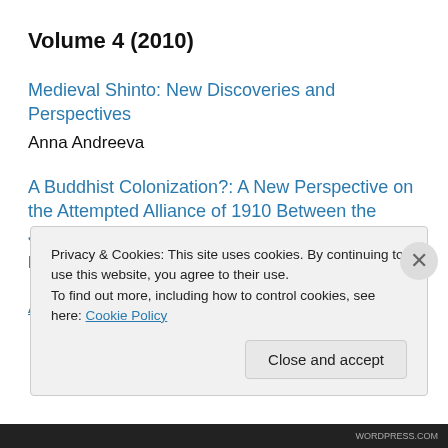Volume 4 (2010)
Medieval Shinto: New Discoveries and Perspectives
Anna Andreeva
A Buddhist Colonization?: A New Perspective on the Attempted Alliance of 1910 Between the Japanese Sōtōshū and the Korean Wnjong
Hwansoo Kim
A Religion in Death Throes: How Secrecy Undermines the ...
Privacy & Cookies: This site uses cookies. By continuing to use this website, you agree to their use.
To find out more, including how to control cookies, see here: Cookie Policy
Close and accept